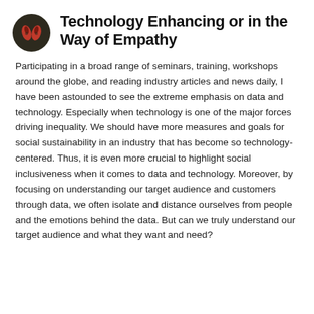Technology Enhancing or in the Way of Empathy
Participating in a broad range of seminars, training, workshops around the globe, and reading industry articles and news daily, I have been astounded to see the extreme emphasis on data and technology. Especially when technology is one of the major forces driving inequality. We should have more measures and goals for social sustainability in an industry that has become so technology-centered. Thus, it is even more crucial to highlight social inclusiveness when it comes to data and technology. Moreover, by focusing on understanding our target audience and customers through data, we often isolate and distance ourselves from people and the emotions behind the data. But can we truly understand our target audience and what they want and need?